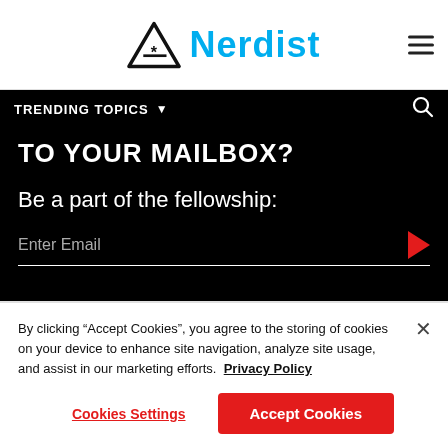Nerdist
TRENDING TOPICS
TO YOUR MAILBOX?
Be a part of the fellowship:
Enter Email
By clicking “Accept Cookies”, you agree to the storing of cookies on your device to enhance site navigation, analyze site usage, and assist in our marketing efforts.  Privacy Policy
Cookies Settings
Accept Cookies